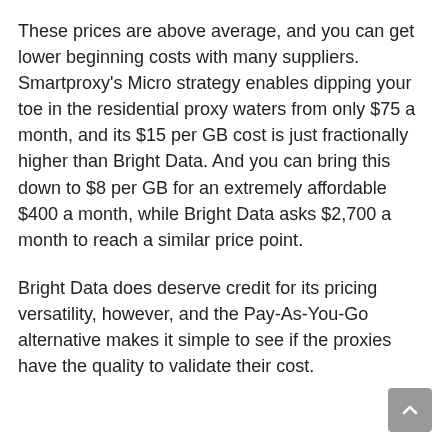These prices are above average, and you can get lower beginning costs with many suppliers. Smartproxy's Micro strategy enables dipping your toe in the residential proxy waters from only $75 a month, and its $15 per GB cost is just fractionally higher than Bright Data. And you can bring this down to $8 per GB for an extremely affordable $400 a month, while Bright Data asks $2,700 a month to reach a similar price point.
Bright Data does deserve credit for its pricing versatility, however, and the Pay-As-You-Go alternative makes it simple to see if the proxies have the quality to validate their cost.